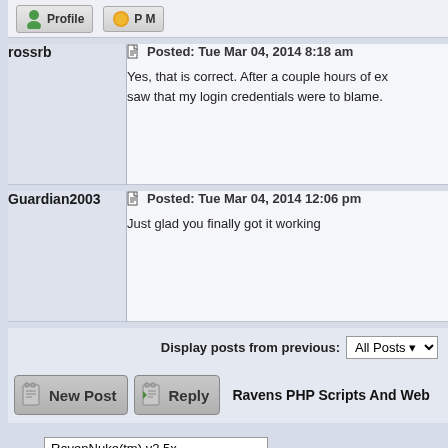Profile  P M
rossrb
Posted: Tue Mar 04, 2014 8:18 am
Yes, that is correct. After a couple hours of ex saw that my login credentials were to blame.
Guardian2003
Posted: Tue Mar 04, 2014 12:06 pm
Just glad you finally got it working
Display posts from previous:  All Posts
New Post  Reply  Ravens PHP Scripts And Web
RavenNuke(tm) v2.5x